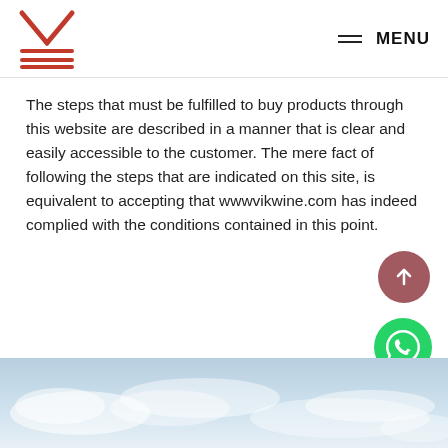[Figure (logo): VIK wine brand logo in red with geometric lines]
MENU
The steps that must be fulfilled to buy products through this website are described in a manner that is clear and easily accessible to the customer. The mere fact of following the steps that are indicated on this site, is equivalent to accepting that wwwvikwine.com has indeed complied with the conditions contained in this point.
[Figure (photo): Sky with clouds photograph at bottom of page]